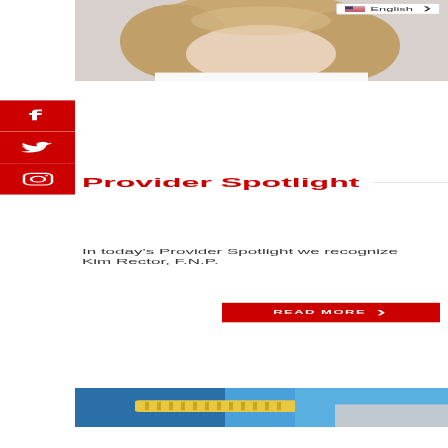[Figure (photo): Partial photo of a person with blonde curly hair wearing a white shirt, cropped to show neck and lower face against a light grey background]
[Figure (screenshot): English language selector dropdown button with US flag icon and chevron]
[Figure (infographic): Three red social media icon buttons stacked vertically: Facebook (f), Twitter (bird), Instagram (camera)]
Provider Spotlight
In today's Provider Spotlight we recognize Kim Rector, F.N.P.
[Figure (other): Red READ MORE button with right-facing chevron arrow]
[Figure (photo): Partial photo of a yellow measuring tape and blue fabric/cloth items]